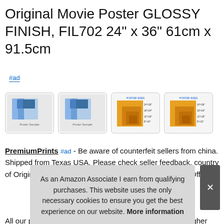Original Movie Poster GLOSSY FINISH, FIL702 24" x 36" 61cm x 91.5cm
#ad
[Figure (photo): Four product thumbnail images: two showing movie poster examples and two showing size comparison charts with orange rectangles]
PremiumPrints #ad - Be aware of counterfeit sellers from china. Shipped from Texas USA. Please check seller feedback, country of Origin and Delivery Fulfillment Date prior to ordering! Offe
As an Amazon Associate I earn from qualifying purchases. This website uses the only necessary cookies to ensure you get the best experience on our website. More information
All our posters are printed on thick glossy photo paper higher